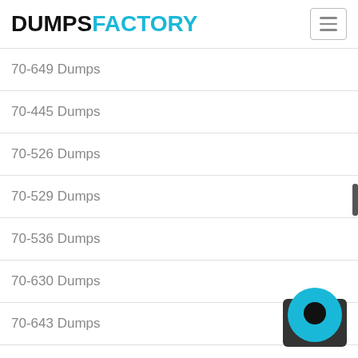DUMPSFACTORY
70-649 Dumps
70-445 Dumps
70-526 Dumps
70-529 Dumps
70-536 Dumps
70-630 Dumps
70-643 Dumps
70-648 Dumps
70-528 Dumps
70-632 Dumps